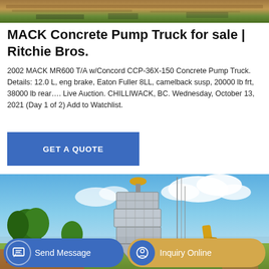[Figure (photo): Aerial/overhead photograph showing a crowded outdoor scene with people and structures, appearing reddish-brown and green tones]
MACK Concrete Pump Truck for sale | Ritchie Bros.
2002 MACK MR600 T/A w/Concord CCP-36X-150 Concrete Pump Truck. Details: 12.0 L, eng brake, Eaton Fuller 8LL, camelback susp, 20000 lb frt, 38000 lb rear…. Live Auction. CHILLIWACK, BC. Wednesday, October 13, 2021 (Day 1 of 2) Add to Watchlist.
[Figure (other): Blue button labeled GET A QUOTE]
[Figure (photo): Photograph of a large industrial cement/concrete silo tower with yellow cap against a blue sky with clouds, surrounded by trees and yellow crane equipment]
[Figure (other): Bottom action bar with Send Message button (blue) and Inquiry Online button (tan/gold)]